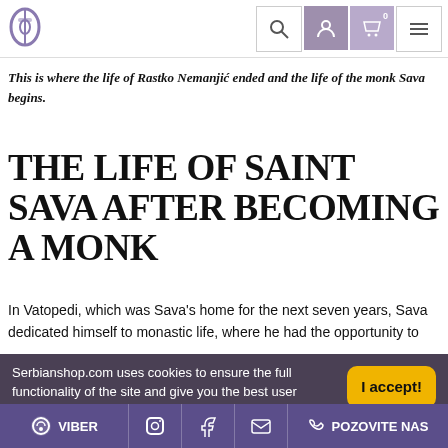Serbianshop.com website header with logo and navigation icons
This is where the life of Rastko Nemanjić ended and the life of the monk Sava begins.
THE LIFE OF SAINT SAVA AFTER BECOMING A MONK
In Vatopedi, which was Sava's home for the next seven years, Sava dedicated himself to monastic life, where he had the opportunity to
Serbianshop.com uses cookies to ensure the full functionality of the site and give you the best user experience.
By using our site, you agree to our use of cookies in accordance with our Privacy Policy. See more
VIBER | Instagram | Facebook | Email | POZOVITE NAS